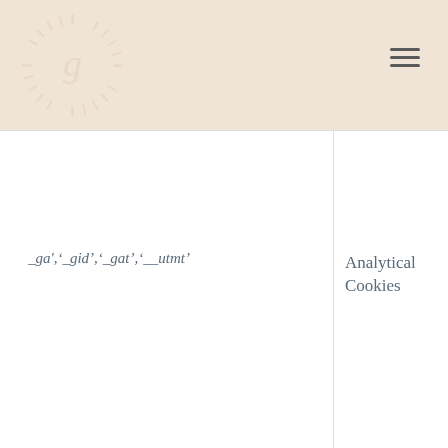[Figure (logo): Circular logo with radiating lines and letter g in center on beige/peach background]
_ga',‘_gid’,‘_gat’,‘__utmt’
Analytical Cookies